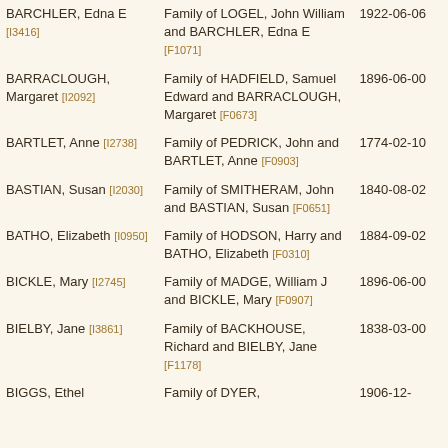| Name | Family | Date |
| --- | --- | --- |
| BARCHLER, Edna E [I3416] | Family of LOGEL, John William and BARCHLER, Edna E [F1071] | 1922-06-06 |
| BARRACLOUGH, Margaret [I2092] | Family of HADFIELD, Samuel Edward and BARRACLOUGH, Margaret [F0673] | 1896-06-00 |
| BARTLET, Anne [I2738] | Family of PEDRICK, John and BARTLET, Anne [F0903] | 1774-02-10 |
| BASTIAN, Susan [I2030] | Family of SMITHERAM, John and BASTIAN, Susan [F0651] | 1840-08-02 |
| BATHO, Elizabeth [I0950] | Family of HODSON, Harry and BATHO, Elizabeth [F0310] | 1884-09-02 |
| BICKLE, Mary [I2745] | Family of MADGE, William J and BICKLE, Mary [F0907] | 1896-06-00 |
| BIELBY, Jane [I3861] | Family of BACKHOUSE, Richard and BIELBY, Jane [F1178] | 1838-03-00 |
| BIGGS, Ethel | Family of DYER, | 1906-12- |